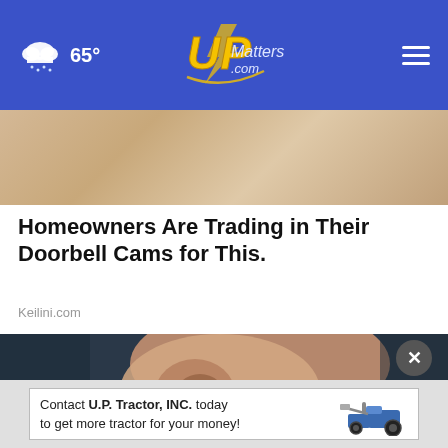65° UPMatters.com
[Figure (photo): Close-up background image at top of page, showing a light tan/skin tone surface]
Homeowners Are Trading in Their Doorbell Cams for This.
Keilini.com
[Figure (photo): Close-up photo of a human ear with an in-ear hearing device being inserted, colorful device visible]
Contact U.P. Tractor, INC. today to get more tractor for your money!